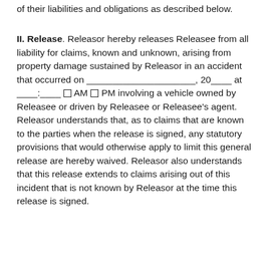of their liabilities and obligations as described below.
II. Release. Releasor hereby releases Releasee from all liability for claims, known and unknown, arising from property damage sustained by Releasor in an accident that occurred on _____________________, 20____ at ____:____ □ AM □ PM involving a vehicle owned by Releasee or driven by Releasee or Releasee's agent. Releasor understands that, as to claims that are known to the parties when the release is signed, any statutory provisions that would otherwise apply to limit this general release are hereby waived. Releasor also understands that this release extends to claims arising out of this incident that is not known by Releasor at the time this release is signed.